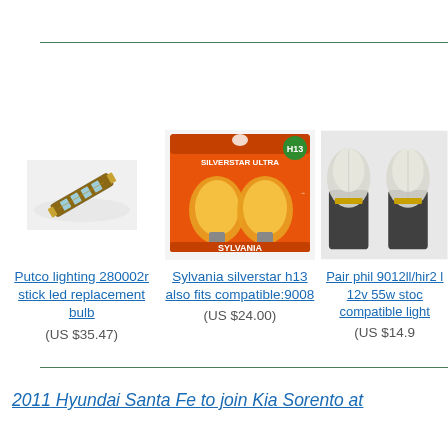[Figure (photo): Small LED stick replacement bulb (blue/gold circuit board style), angled view]
[Figure (photo): Sylvania Silverstar Ultra H13 headlight bulb pack (orange packaging with 2 bulbs)]
[Figure (photo): Pair of Phillips 9012ll/hir2 bulbs on black connectors]
Putco lighting 280002r stick led replacement bulb
(US $35.47)
Sylvania silverstar h13 also fits compatible:9008
(US $24.00)
Pair phil 9012ll/hir2 l 12v 55w stoc compatible light
(US $14.9
2011 Hyundai Santa Fe to join Kia Sorento at